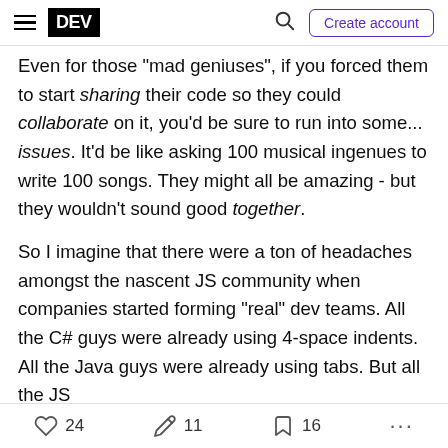DEV | Create account
Even for those "mad geniuses", if you forced them to start sharing their code so they could collaborate on it, you'd be sure to run into some... issues. It'd be like asking 100 musical ingenues to write 100 songs. They might all be amazing - but they wouldn't sound good together.
So I imagine that there were a ton of headaches amongst the nascent JS community when companies started forming "real" dev teams. All the C# guys were already using 4-space indents. All the Java guys were already using tabs. But all the JS
24 likes  11 reactions  16 saves  ...